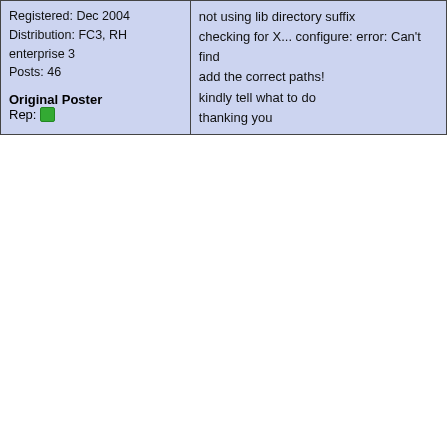| User Info | Post Content |
| --- | --- |
| Registered: Dec 2004
Distribution: FC3, RH enterprise 3
Posts: 46

Original Poster
Rep: [icon] | not using lib directory suffix
checking for X... configure: error: Can't find
add the correct paths!
kindly tell what to do
thanking you |